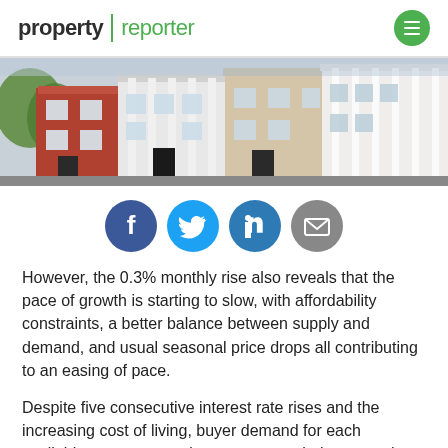property | reporter
[Figure (photo): Row of terraced houses with colourful facades — red brick and white painted frontages, partially blurred/bokeh street view]
[Figure (infographic): Social sharing icons: Facebook (dark blue), Twitter (light blue), LinkedIn (blue), Email (grey)]
However, the 0.3% monthly rise also reveals that the pace of growth is starting to slow, with affordability constraints, a better balance between supply and demand, and usual seasonal price drops all contributing to an easing of pace.
Despite five consecutive interest rate rises and the increasing cost of living, buyer demand for each available property remains very strong, being more than double